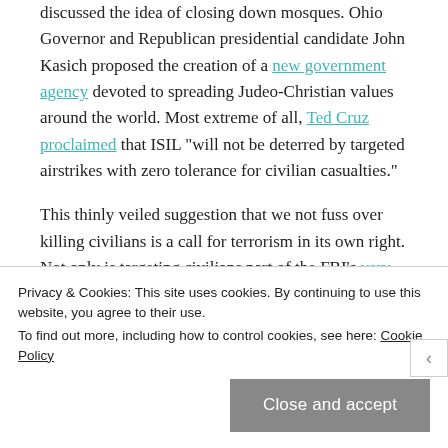discussed the idea of closing down mosques. Ohio Governor and Republican presidential candidate John Kasich proposed the creation of a new government agency devoted to spreading Judeo-Christian values around the world. Most extreme of all, Ted Cruz proclaimed that ISIL "will not be deterred by targeted airstrikes with zero tolerance for civilian casualties."
This thinly veiled suggestion that we not fuss over killing civilians is a call for terrorism in its own right. Not only is targeting civilians part of the FBI's very definition of terrorism, it's what led directly to the
Privacy & Cookies: This site uses cookies. By continuing to use this website, you agree to their use.
To find out more, including how to control cookies, see here: Cookie Policy